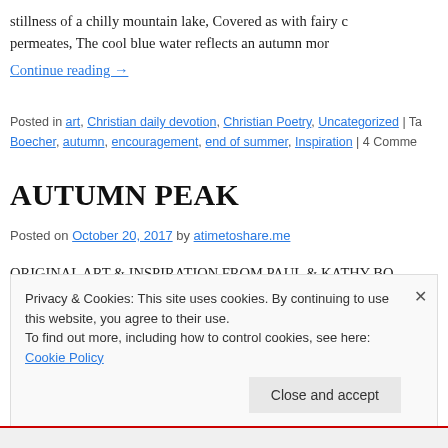stillness of a chilly mountain lake, Covered as with fairy c permeates, The cool blue water reflects an autumn mor
Continue reading →
Posted in art, Christian daily devotion, Christian Poetry, Uncategorized | Ta Boecher, autumn, encouragement, end of summer, Inspiration | 4 Comme
AUTUMN PEAK
Posted on October 20, 2017 by atimetoshare.me
ORIGINAL ART & INSPIRATION FROM PAUL & KATHY BO leads to a tapestry Of faded leaves and brittle branches, Reds have turned to burnished crimson, Greens to chartr
Privacy & Cookies: This site uses cookies. By continuing to use this website, you agree to their use.
To find out more, including how to control cookies, see here: Cookie Policy
Close and accept